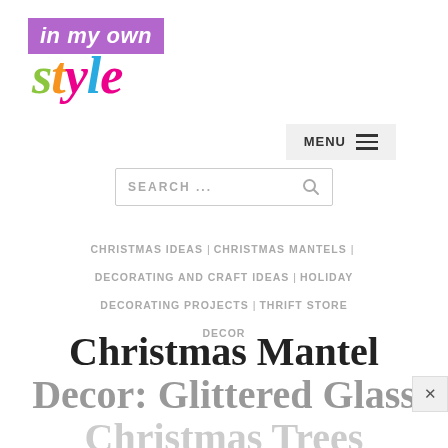[Figure (logo): In My Own Style blog logo — purple background with italic white text 'in my own' and colorful italic serif 'style' text below]
[Figure (other): MENU button with three horizontal lines (hamburger icon) on light grey background]
[Figure (other): Search bar with placeholder text 'SEARCH ...' and magnifying glass icon]
CHRISTMAS IDEAS | CHRISTMAS MANTELS | DECORATING AND CRAFT IDEAS | HOLIDAY DECORATING PROJECTS | THRIFT STORE DECOR
Christmas Mantel Decor: Glittered Glass Christmas Trees